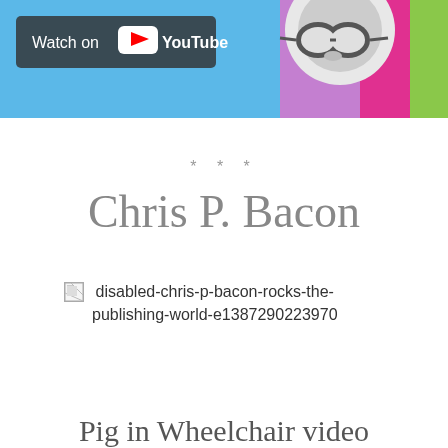[Figure (screenshot): YouTube video thumbnail banner with colorful cartoon characters and a 'Watch on YouTube' overlay badge with YouTube play button icon]
* * *
Chris P. Bacon
[Figure (photo): Broken image placeholder for: disabled-chris-p-bacon-rocks-the-publishing-world-e1387290223970]
Pig in Wheelchair video